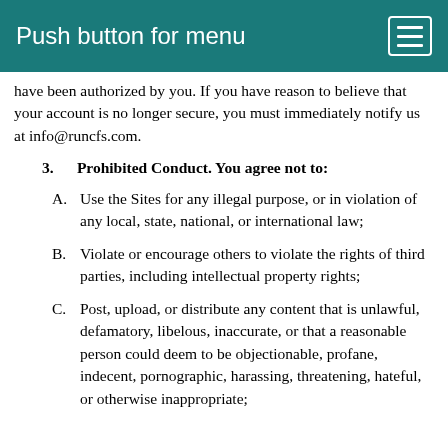Push button for menu
have been authorized by you. If you have reason to believe that your account is no longer secure, you must immediately notify us at info@runcfs.com.
3.    Prohibited Conduct. You agree not to:
A.  Use the Sites for any illegal purpose, or in violation of any local, state, national, or international law;
B.  Violate or encourage others to violate the rights of third parties, including intellectual property rights;
C.  Post, upload, or distribute any content that is unlawful, defamatory, libelous, inaccurate, or that a reasonable person could deem to be objectionable, profane, indecent, pornographic, harassing, threatening, hateful, or otherwise inappropriate;